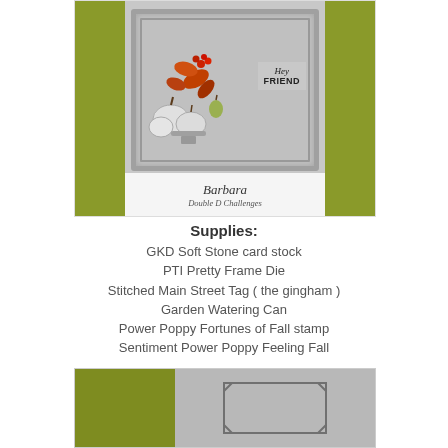[Figure (photo): Handmade greeting card with gray/silver color scheme, ornate frame die cut, autumn/fall decoration featuring white pumpkins, orange berries, fall leaves, and a 'Hey FRIEND' sentiment. Signed 'Barbara / Double D Challenges' at the bottom on a yellow-green background.]
Supplies:
GKD Soft Stone card stock
PTI Pretty Frame Die
Stitched Main Street Tag ( the gingham )
Garden Watering Can
Power Poppy Fortunes of Fall stamp
Sentiment Power Poppy Feeling Fall
[Figure (photo): Bottom portion of handmade card showing the inside/back with olive green background and gray card panels with a tag-shaped die cut outline visible.]